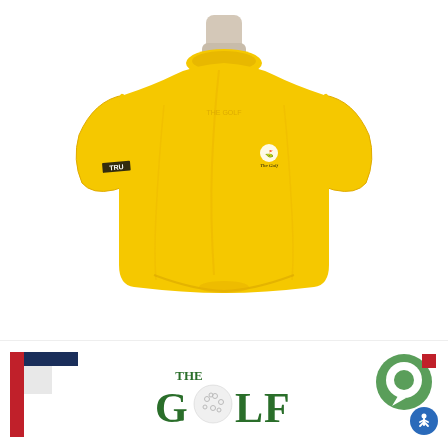[Figure (photo): Back view of a bright yellow golf polo shirt displayed on a mannequin. The shirt has a collar, short sleeves, and features a small embroidered logo on the left chest area and a brand label on the left sleeve.]
[Figure (logo): Bottom banner showing three logos: a T-shaped red/navy/gray bracket logo on the left, 'THE GOLF' text logo with a golf ball replacing the O in the center, and a green/red circular chat-bubble accessibility icon on the right with a blue accessibility button overlay.]